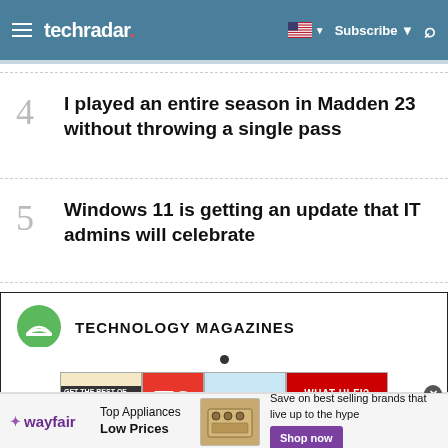techradar
4  I played an entire season in Madden 23 without throwing a single pass
5  Windows 11 is getting an update that IT admins will celebrate
TECHNOLOGY MAGAZINES
[Figure (screenshot): Technology magazine covers including Linux, T3, Mac, and What Hi-Fi?]
[Figure (screenshot): Wayfair advertisement: Top Appliances Low Prices, Save on best selling brands that live up to the hype, Shop now]